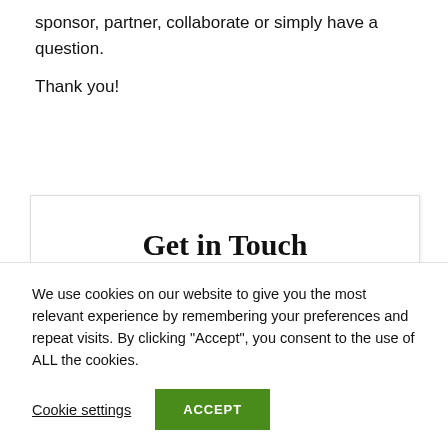sponsor, partner, collaborate or simply have a question.
Thank you!
Get in Touch
Name *
We use cookies on our website to give you the most relevant experience by remembering your preferences and repeat visits. By clicking “Accept”, you consent to the use of ALL the cookies.
Cookie settings
ACCEPT